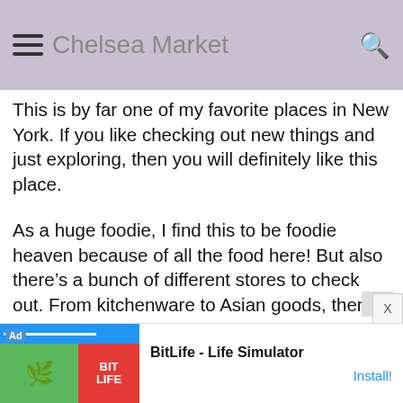Chelsea Market
This is by far one of my favorite places in New York. If you like checking out new things and just exploring, then you will definitely like this place.
As a huge foodie, I find this to be foodie heaven because of all the food here! But also there’s a bunch of different stores to check out. From kitchenware to Asian goods, there’s plenty to do and see here.
While visiting Chelsea Market, I spent a good 2-3 hours just exploring the whole area. I also found some wonderful Artisan goods
[Figure (screenshot): Advertisement banner for BitLife - Life Simulator app with install button]